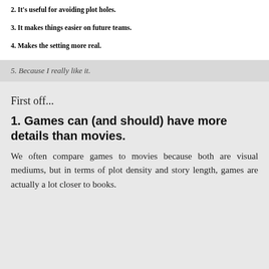2. It's useful for avoiding plot holes.
3. It makes things easier on future teams.
4. Makes the setting more real.
5. Because I really like it.
First off...
1. Games can (and should) have more details than movies.
We often compare games to movies because both are visual mediums, but in terms of plot density and story length, games are actually a lot closer to books.